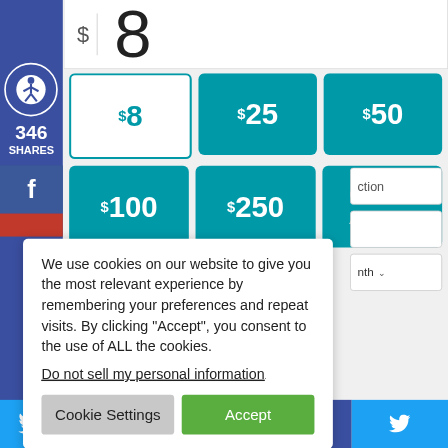[Figure (screenshot): A donation/payment widget showing a dollar input field with '8' entered, a grid of amount buttons ($8 selected, $25, $50, $100, $250, Custom Amount), social sharing sidebar with 346 shares, Facebook and Twitter buttons. A cookie consent modal overlays the bottom portion with text about cookie usage, a link 'Do not sell my personal information', and buttons 'Cookie Settings' and 'Accept'.]